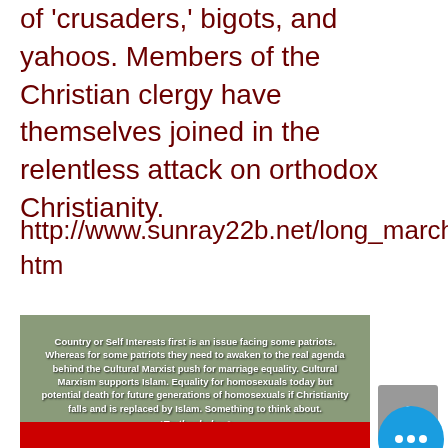of 'crusaders,' bigots, and yahoos. Members of the Christian clergy have themselves joined in the relentless attack on orthodox Christianity.
http://www.sunray22b.net/long_march.htm
[Figure (photo): Photo with overlaid text reading: 'Country or Self Interests first is an issue facing some patriots. Whereas for some patriots they need to awaken to the real agenda behind the Cultural Marxist push for marriage equality. Cultural Marxism supports Islam. Equality for homosexuals today but potential death for future generations of homosexuals if Christianity falls and is replaced by Islam. Something to think about.' Signed *Truthophobes*]
[Figure (photo): Red background image partially visible at bottom of page]